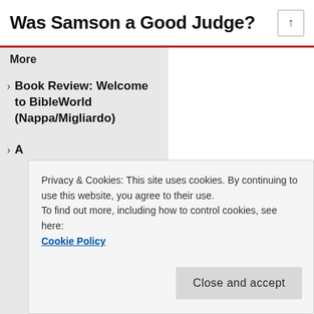Was Samson a Good Judge?
More
Book Review: Welcome to BibleWorld (Nappa/Migliardo)
A
Privacy & Cookies: This site uses cookies. By continuing to use this website, you agree to their use.
To find out more, including how to control cookies, see here: Cookie Policy
Close and accept